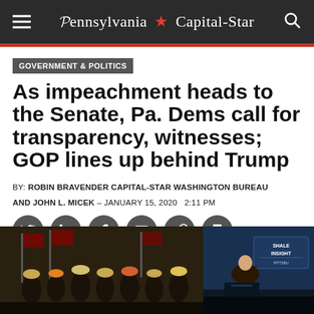Pennsylvania Capital-Star
GOVERNMENT & POLITICS
As impeachment heads to the Senate, Pa. Dems call for transparency, witnesses; GOP lines up behind Trump
BY: ROBIN BRAVENDER CAPITAL-STAR WASHINGTON BUREAU
AND JOHN L. MICEK – JANUARY 15, 2020  2:11 PM
[Figure (photo): Left: Group of people wearing hard hats and mining helmets with American flags in background. Right: Speaker at podium with Shale Insight Pittsburgh sign visible.]